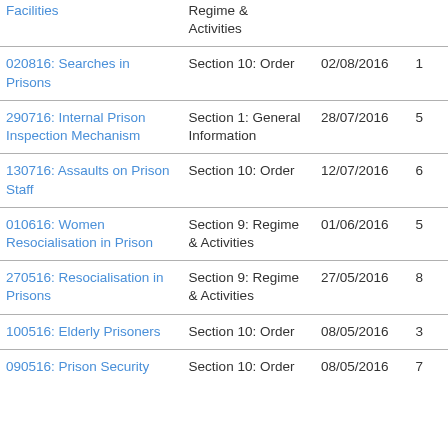| Title | Section | Date | Num |
| --- | --- | --- | --- |
| Facilities | Regime & Activities |  |  |
| 020816: Searches in Prisons | Section 10: Order | 02/08/2016 | 1 |
| 290716: Internal Prison Inspection Mechanism | Section 1: General Information | 28/07/2016 | 5 |
| 130716: Assaults on Prison Staff | Section 10: Order | 12/07/2016 | 6 |
| 010616: Women Resocialisation in Prison | Section 9: Regime & Activities | 01/06/2016 | 5 |
| 270516: Resocialisation in Prisons | Section 9: Regime & Activities | 27/05/2016 | 8 |
| 100516: Elderly Prisoners | Section 10: Order | 08/05/2016 | 3 |
| 090516: Prison Security | Section 10: Order | 08/05/2016 | 7 |